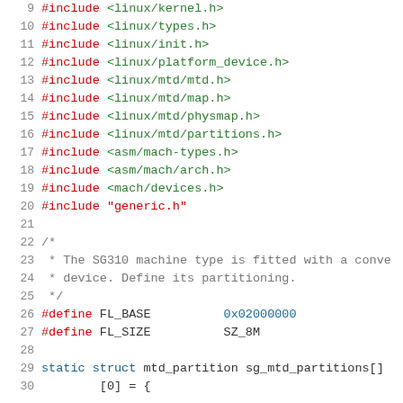Source code listing lines 9-30, C kernel driver file with #include directives, comments, #define macros, and static struct declaration for SG310 MTD partitions.